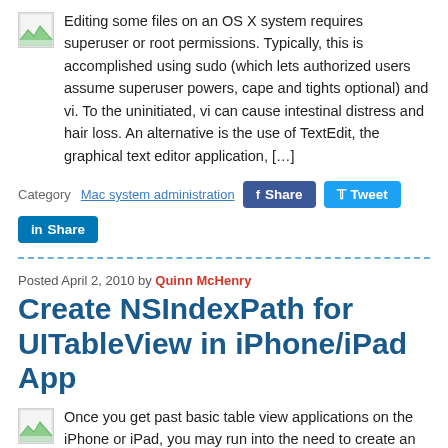[Figure (illustration): Small thumbnail image icon (document/image placeholder)]
Editing some files on an OS X system requires superuser or root permissions. Typically, this is accomplished using sudo (which lets authorized users assume superuser powers, cape and tights optional) and vi. To the uninitiated, vi can cause intestinal distress and hair loss. An alternative is the use of TextEdit, the graphical text editor application, […]
Category Mac system administration
Share Tweet Share (social buttons)
Posted April 2, 2010 by Quinn McHenry
Create NSIndexPath for UITableView in iPhone/iPad App
[Figure (illustration): Small thumbnail image icon (document/image placeholder)]
Once you get past basic table view applications on the iPhone or iPad, you may run into the need to create an instance of NSIndexPath. NSIndexPath is an interesting class that stores the path to get to something in a nested set of collections. In an iPhone UITableView application, NSIndexPath is central as it provides […]